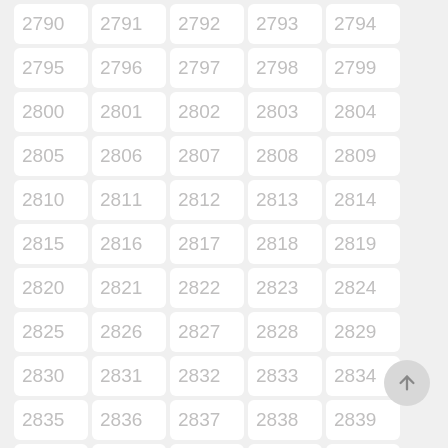[Figure (other): A grid of numbered cells from 2790 to 2844 arranged in 5 columns and 11 rows, each cell showing a light gray number on a white rounded rectangle background. A scroll-to-top button (circle with upward arrow) appears at bottom right.]